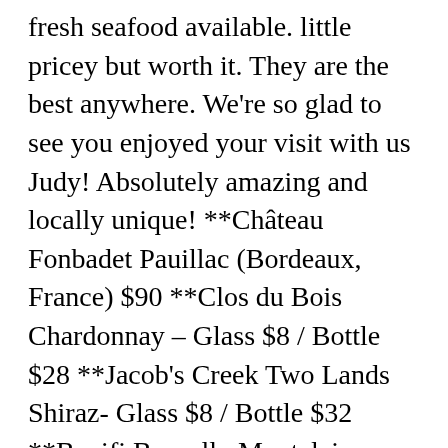fresh seafood available. little pricey but worth it. They are the best anywhere. We're so glad to see you enjoyed your visit with us Judy! Absolutely amazing and locally unique! **Château Fonbadet Pauillac (Bordeaux, France) $90 **Clos du Bois Chardonnay – Glass $8 / Bottle $28 **Jacob's Creek Two Lands Shiraz- Glass $8 / Bottle $32 **Banifi Brunello Montalcino (Italy) $140 It's true A visit to SPI would not be complete with dinner at the Sea Ranch. We rank these hotels, restaurants, and attractions by balancing reviews from our members with how close they are to this location. **Cain 5 Red Blend (Spring Mountain District, Napa) $195 Desert was shared creme brulee which was very well prepared. **Los